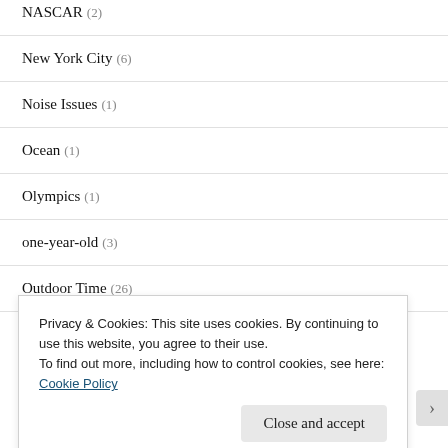NASCAR (2)
New York City (6)
Noise Issues (1)
Ocean (1)
Olympics (1)
one-year-old (3)
Outdoor Time (26)
Privacy & Cookies: This site uses cookies. By continuing to use this website, you agree to their use.
To find out more, including how to control cookies, see here: Cookie Policy
Close and accept